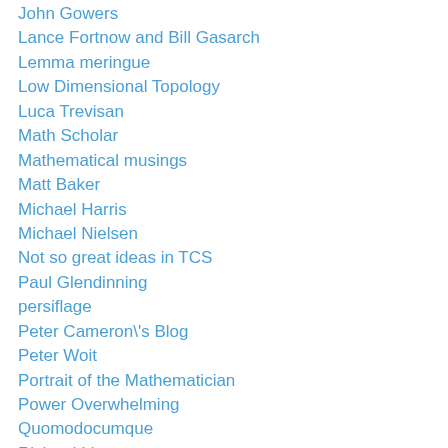John Gowers
Lance Fortnow and Bill Gasarch
Lemma meringue
Low Dimensional Topology
Luca Trevisan
Math Scholar
Mathematical musings
Matt Baker
Michael Harris
Michael Nielsen
Not so great ideas in TCS
Paul Glendinning
persiflage
Peter Cameron\'s Blog
Peter Woit
Portrait of the Mathematician
Power Overwhelming
Quomodocumque
Richard Lipton
Ryan O'Donnell